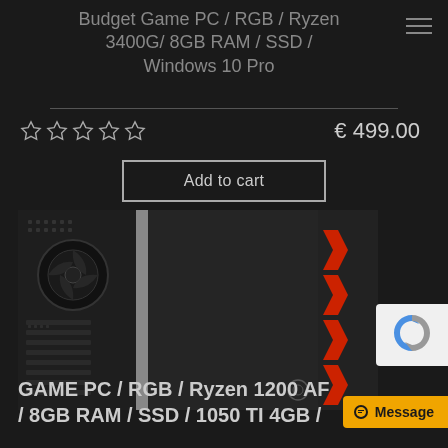Budget Game PC / RGB / Ryzen 3400G / 8GB RAM / SSD / Windows 10 Pro
€ 499.00
Add to cart
[Figure (photo): Close-up photo of a black gaming PC case (Cooler Master) showing ventilation mesh, cable management, and red accent strips on the side panel]
GAME PC / RGB / Ryzen 1200 AF / 8GB RAM / SSD / 1050 TI 4GB /